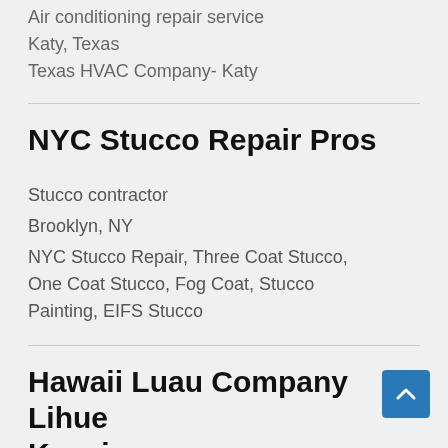Air conditioning repair service
Katy, Texas
Texas HVAC Company- Katy
NYC Stucco Repair Pros
Stucco contractor
Brooklyn, NY
NYC Stucco Repair, Three Coat Stucco, One Coat Stucco, Fog Coat, Stucco Painting, EIFS Stucco
Hawaii Luau Company Lihue Kauai
Event management company